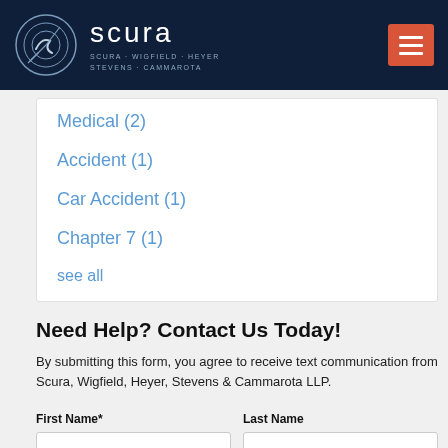scura — SCURA · WIGFIELD · HEYER STEVENS · CAMMAROTA
Medical (2)
Accident (1)
Car Accident (1)
Chapter 7 (1)
see all
Need Help? Contact Us Today!
By submitting this form, you agree to receive text communication from Scura, Wigfield, Heyer, Stevens & Cammarota LLP.
First Name*
Last Name